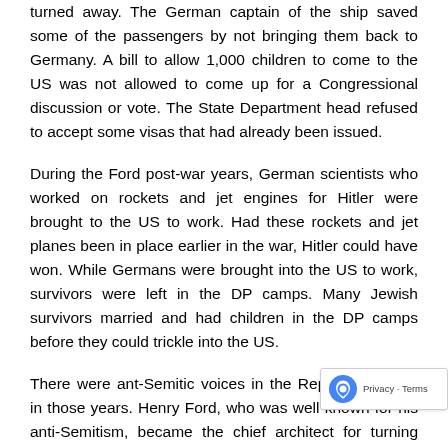turned away. The German captain of the ship saved some of the passengers by not bringing them back to Germany. A bill to allow 1,000 children to come to the US was not allowed to come up for a Congressional discussion or vote. The State Department head refused to accept some visas that had already been issued.
During the Ford post-war years, German scientists who worked on rockets and jet engines for Hitler were brought to the US to work. Had these rockets and jet planes been in place earlier in the war, Hitler could have won. While Germans were brought into the US to work, survivors were left in the DP camps. Many Jewish survivors married and had children in the DP camps before they could trickle into the US.
There were ant-Semitic voices in the Republican Party in those years. Henry Ford, who was well known for his anti-Semitism, became the chief architect for turning American war production into what is known as the arsenal of Democracy. The speed with which car production was turned into plane, ship, and tank production contributed to the eventual defeat of Hitler.